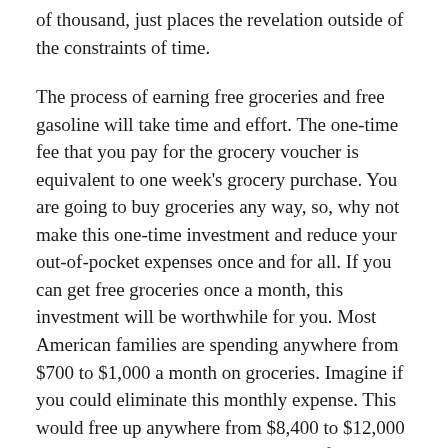of thousand, just places the revelation outside of the constraints of time.
The process of earning free groceries and free gasoline will take time and effort. The one-time fee that you pay for the grocery voucher is equivalent to one week's grocery purchase. You are going to buy groceries any way, so, why not make this one-time investment and reduce your out-of-pocket expenses once and for all. If you can get free groceries once a month, this investment will be worthwhile for you. Most American families are spending anywhere from $700 to $1,000 a month on groceries. Imagine if you could eliminate this monthly expense. This would free up anywhere from $8,400 to $12,000 a year which you could use take your family on the long vacation to a paradise island. Discount grocery voucher is one way that you can lessen the pain at the Governmental Corruption cash register.